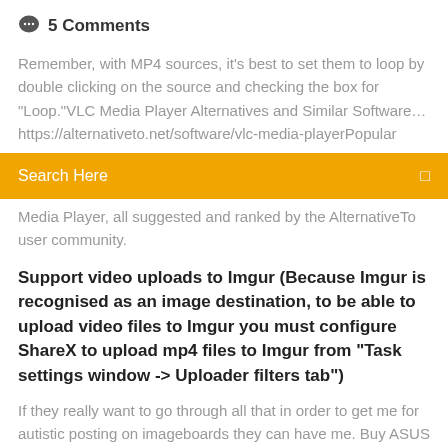💬 5 Comments
Remember, with MP4 sources, it's best to set them to loop by double clicking on the source and checking the box for "Loop."VLC Media Player Alternatives and Similar Software… https://alternativeto.net/software/vlc-media-playerPopular
[Figure (other): Orange search bar with text 'Search Here' and a search icon on the right]
Media Player, all suggested and ranked by the AlternativeTo user community.
Support video uploads to Imgur (Because Imgur is recognised as an image destination, to be able to upload video files to Imgur you must configure ShareX to upload mp4 files to Imgur from "Task settings window -> Uploader filters tab")
If they really want to go through all that in order to get me for autistic posting on imageboards they can have me. Buy ASUS